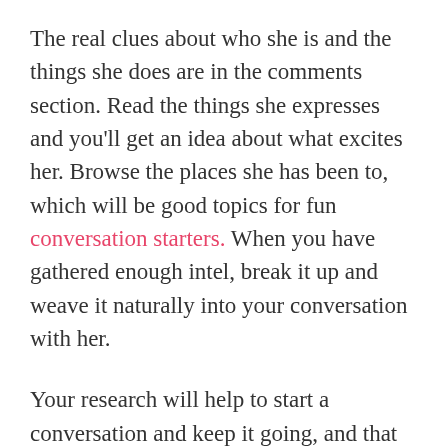The real clues about who she is and the things she does are in the comments section. Read the things she expresses and you'll get an idea about what excites her. Browse the places she has been to, which will be good topics for fun conversation starters. When you have gathered enough intel, break it up and weave it naturally into your conversation with her.
Your research will help to start a conversation and keep it going, and that is how you impress a girl on a first date. This will open up more vistas of like-minded conversation and